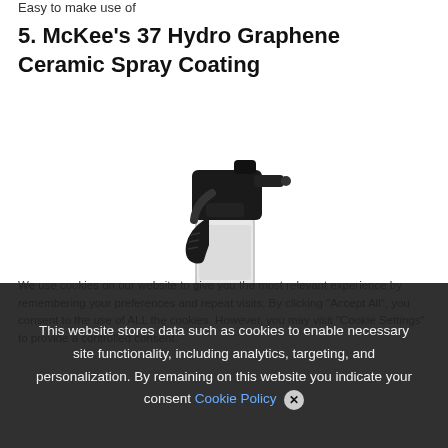Easy to make use of
5. McKee's 37 Hydro Graphene Ceramic Spray Coating
[Figure (photo): A spray bottle with black trigger sprayer and clear/white body, partially visible, photographed against a white background.]
We use cookies on our website to give you the most relevant experience by remembering your preferences and repeat visits. By clicking "Accept All", you consent to the use of ALL the cookies. However, you may visit "Cookie Settings" to provide a controlled consent.
This website stores data such as cookies to enable necessary site functionality, including analytics, targeting, and personalization. By remaining on this website you indicate your consent Cookie Policy ✕